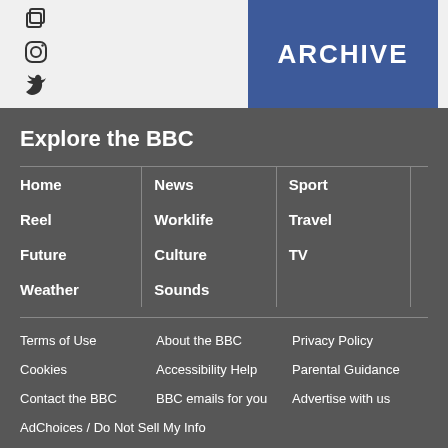[Figure (other): Social media icons: a square/copy icon, Instagram icon, and Twitter bird icon arranged vertically on a light gray background]
[Figure (other): Blue ARCHIVE button/banner in upper right on gray background]
Explore the BBC
Home
News
Sport
Reel
Worklife
Travel
Future
Culture
TV
Weather
Sounds
Terms of Use   About the BBC   Privacy Policy   Cookies   Accessibility Help   Parental Guidance   Contact the BBC   BBC emails for you   Advertise with us   AdChoices / Do Not Sell My Info